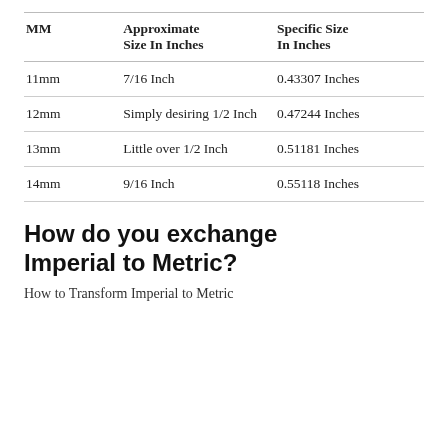| MM | Approximate Size In Inches | Specific Size In Inches |
| --- | --- | --- |
| 11mm | 7/16 Inch | 0.43307 Inches |
| 12mm | Simply desiring 1/2 Inch | 0.47244 Inches |
| 13mm | Little over 1/2 Inch | 0.51181 Inches |
| 14mm | 9/16 Inch | 0.55118 Inches |
How do you exchange Imperial to Metric?
How to Transform Imperial to Metric